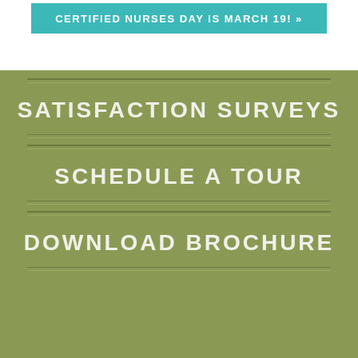CERTIFIED NURSES DAY IS MARCH 19! »
SATISFACTION SURVEYS
SCHEDULE A TOUR
DOWNLOAD BROCHURE